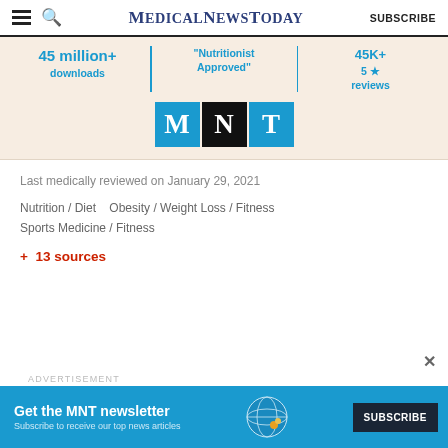MedicalNewsToday — SUBSCRIBE
[Figure (infographic): App advertisement banner with stats: 45 million+ downloads, Nutritionist Approved, 45K+ 5 star reviews, and MNT logo tiles]
Last medically reviewed on January 29, 2021
Nutrition / Diet    Obesity / Weight Loss / Fitness    Sports Medicine / Fitness
+ 13 sources
[Figure (infographic): ADVERTISEMENT — Get the MNT newsletter. Subscribe to receive our top news articles. SUBSCRIBE button. Globe illustration on right.]